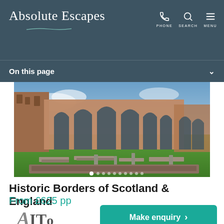Absolute Escapes
On this page
[Figure (photo): Ruins of a historic abbey with stone foundations on green grass, large arched windows of the ruined nave visible in background, blue sky.]
Historic Borders of Scotland & England
From £625 pp
[Figure (logo): AITO logo with text: Quality. Expertise. Protection.]
Make enquiry >